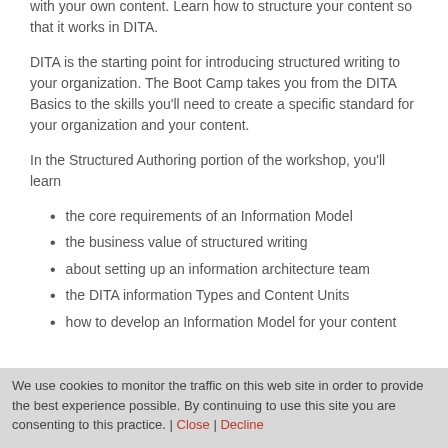with your own content. Learn how to structure your content so that it works in DITA.
DITA is the starting point for introducing structured writing to your organization. The Boot Camp takes you from the DITA Basics to the skills you'll need to create a specific standard for your organization and your content.
In the Structured Authoring portion of the workshop, you'll learn
the core requirements of an Information Model
the business value of structured writing
about setting up an information architecture team
the DITA information Types and Content Units
how to develop an Information Model for your content
We use cookies to monitor the traffic on this web site in order to provide the best experience possible. By continuing to use this site you are consenting to this practice. | Close | Decline